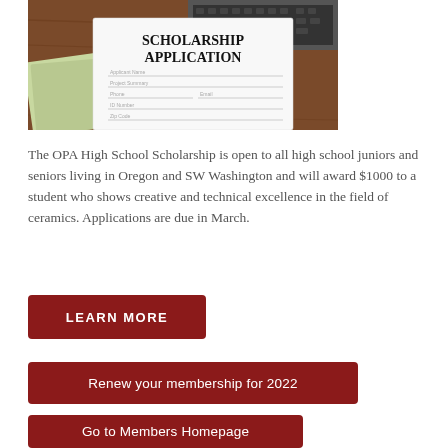[Figure (photo): Photo of a scholarship application form paper on a wooden desk with a laptop keyboard in background. The application document shows 'SCHOLARSHIP APPLICATION' text in large black serif font.]
The OPA High School Scholarship is open to all high school juniors and seniors living in Oregon and SW Washington and will award $1000 to a student who shows creative and technical excellence in the field of ceramics. Applications are due in March.
LEARN MORE
Renew your membership for 2022
Go to Members Homepage